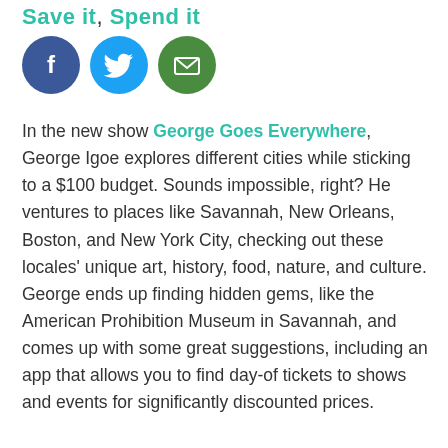Save it, Spend it
[Figure (illustration): Three social media icon circles: Facebook (blue), Twitter (light blue), Email (green)]
In the new show George Goes Everywhere, George Igoe explores different cities while sticking to a $100 budget. Sounds impossible, right? He ventures to places like Savannah, New Orleans, Boston, and New York City, checking out these locales' unique art, history, food, nature, and culture. George ends up finding hidden gems, like the American Prohibition Museum in Savannah, and comes up with some great suggestions, including an app that allows you to find day-of tickets to shows and events for significantly discounted prices.